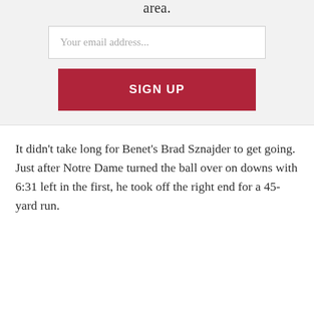area.
[Figure (other): Email signup form with input field 'Your email address...' and a red SIGN UP button]
It didn’t take long for Benet’s Brad Sznajder to get going. Just after Notre Dame turned the ball over on downs with 6:31 left in the first, he took off the right end for a 45-yard run.